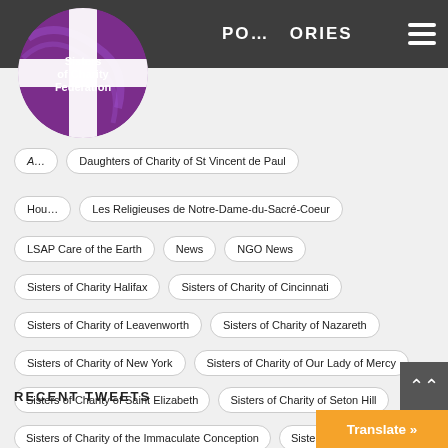POST CATEGORIES
[Figure (logo): Sisters of Charity Federation logo — purple circle with white cross and text]
Daughters of Charity of St Vincent de Paul
Les Religieuses de Notre-Dame-du-Sacré-Coeur
LSAP Care of the Earth
News
NGO News
Sisters of Charity Halifax
Sisters of Charity of Cincinnati
Sisters of Charity of Leavenworth
Sisters of Charity of Nazareth
Sisters of Charity of New York
Sisters of Charity of Our Lady of Mercy
Sisters of Charity of Saint Elizabeth
Sisters of Charity of Seton Hill
Sisters of Charity of the Immaculate Conception
Sisters of St Martha
Sisters of St Martha of PEI
Vincentian Family
RECENT TWEETS